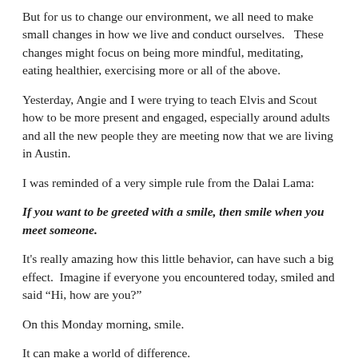But for us to change our environment, we all need to make small changes in how we live and conduct ourselves.   These changes might focus on being more mindful, meditating, eating healthier, exercising more or all of the above.
Yesterday, Angie and I were trying to teach Elvis and Scout how to be more present and engaged, especially around adults and all the new people they are meeting now that we are living in Austin.
I was reminded of a very simple rule from the Dalai Lama:
If you want to be greeted with a smile, then smile when you meet someone.
It's really amazing how this little behavior, can have such a big effect.  Imagine if everyone you encountered today, smiled and said “Hi, how are you?”
On this Monday morning, smile.
It can make a world of difference.